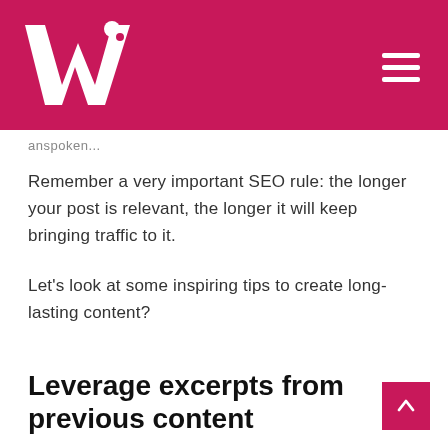W logo navigation header
anspoken...
Remember a very important SEO rule: the longer your post is relevant, the longer it will keep bringing traffic to it.
Let's look at some inspiring tips to create long-lasting content?
Leverage excerpts from previous content